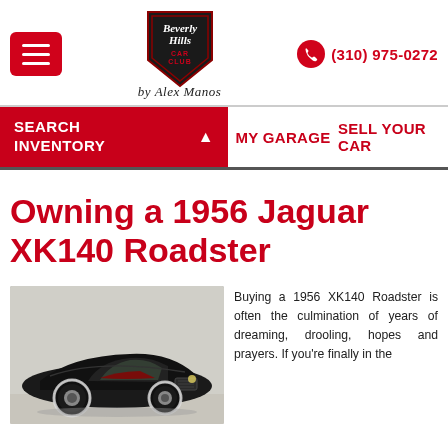Beverly Hills Car Club — (310) 975-0272
SEARCH INVENTORY | MY GARAGE | SELL YOUR CAR
Owning a 1956 Jaguar XK140 Roadster
[Figure (photo): Black 1956 Jaguar XK140 Roadster classic car, low angle front-quarter view, white wall tires, red interior, light gray background.]
Buying a 1956 XK140 Roadster is often the culmination of years of dreaming, drooling, hopes and prayers. If you're finally in the